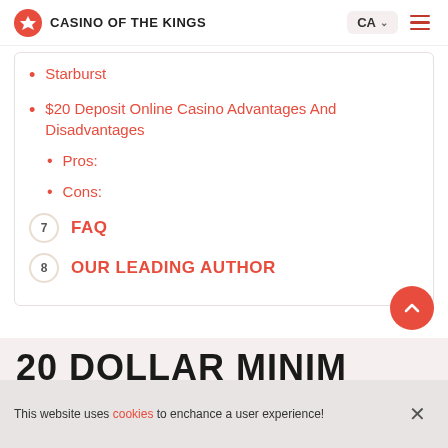CASINO OF THE KINGS
Starburst
$20 Deposit Online Casino Advantages And Disadvantages
Pros:
Cons:
7  FAQ
8  OUR LEADING AUTHOR
20 DOLLAR MINIMUM DEPOSIT
This website uses cookies to enchance a user experience!